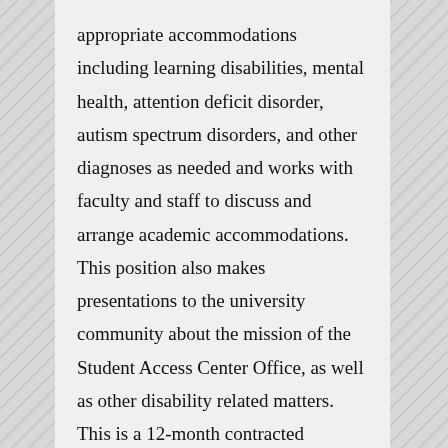appropriate accommodations including learning disabilities, mental health, attention deficit disorder, autism spectrum disorders, and other diagnoses as needed and works with faculty and staff to discuss and arrange academic accommodations. This position also makes presentations to the university community about the mission of the Student Access Center Office, as well as other disability related matters. This is a 12-month contracted position.